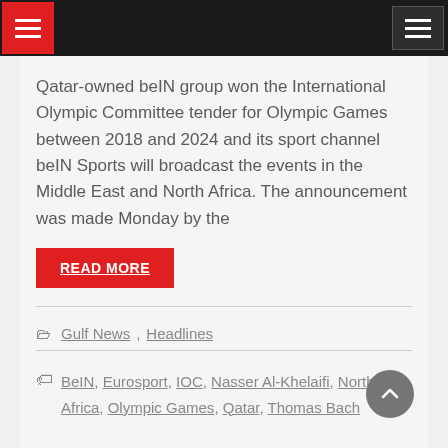Navigation bar with hamburger menus
Qatar-owned beIN group won the International Olympic Committee tender for Olympic Games between 2018 and 2024 and its sport channel beIN Sports will broadcast the events in the Middle East and North Africa. The announcement was made Monday by the
READ MORE
Gulf News, Headlines
BeIN, Eurosport, IOC, Nasser Al-Khelaifi, North Africa, Olympic Games, Qatar, Thomas Bach